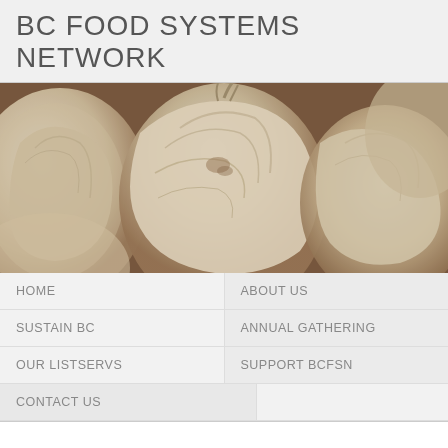BC FOOD SYSTEMS NETWORK
[Figure (photo): Close-up photograph of garlic bulbs, white and beige tones, filling the entire image area.]
HOME
ABOUT US
SUSTAIN BC
ANNUAL GATHERING
OUR LISTSERVS
SUPPORT BCFSN
CONTACT US
Home